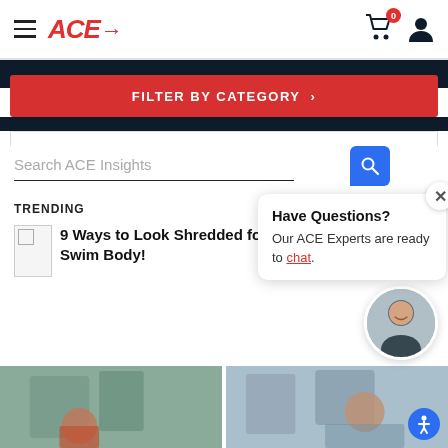ACE→ [navigation logo with hamburger menu and cart/user icons]
FILTER BY CATEGORY ›
Search ACE Insights
TRENDING
9 Ways to Look Shredded for Your Best Swim Body!
Have Questions? Our ACE Experts are ready to chat.
[Figure (photo): Two side-by-side exercise/fitness video thumbnails at bottom of page]
[Figure (photo): Circular avatar of a smiling man in dark shirt]